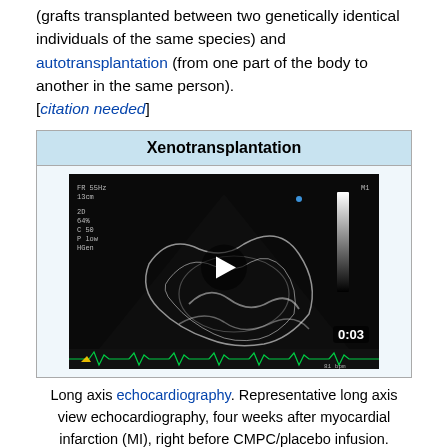(grafts transplanted between two genetically identical individuals of the same species) and autotransplantation (from one part of the body to another in the same person). [citation needed]
Xenotransplantation
[Figure (photo): Echocardiography video screenshot showing long axis view of heart, with play button overlay, timestamp 0:03, and cardiac imaging data displayed on left side (FR 55Hz, 13cm, 2D, 64%, C 50, P low, HGen). Green ECG trace at bottom.]
Long axis echocardiography. Representative long axis view echocardiography, four weeks after myocardial infarction (MI), right before CMPC/placebo infusion. Thinning and akinesia of